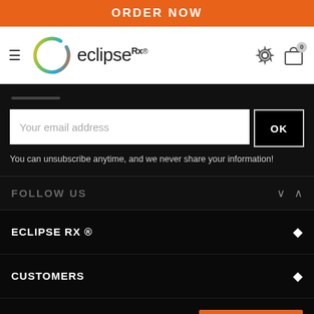ORDER NOW
[Figure (logo): EclipseRx logo with colorful circle and text 'eclipseRx']
Your email address
OK
You can unsubscribe anytime, and we never share your information!
FOLLOW US
ECLIPSE RX ®
CUSTOMERS
AFFILIATE OPPORTUNITIES
Send Voicemail